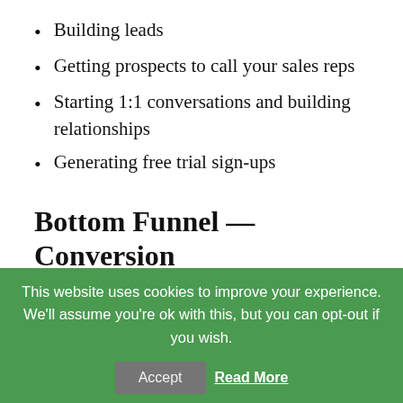Building leads
Getting prospects to call your sales reps
Starting 1:1 conversations and building relationships
Generating free trial sign-ups
Bottom Funnel — Conversion
At this point, some of your leads will want to become paying customers. They'll be committing to deals, buying your products, and
This website uses cookies to improve your experience. We'll assume you're ok with this, but you can opt-out if you wish.